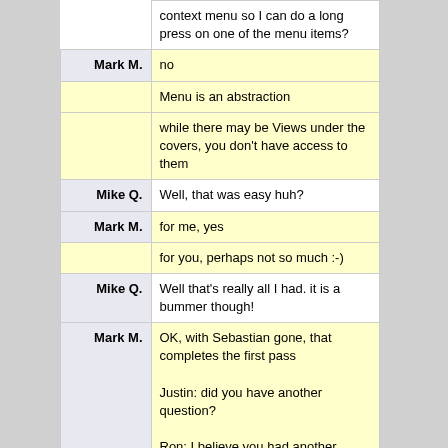|  | context menu so I can do a long press on one of the menu items? |
| Mark M. | no |
|  | Menu is an abstraction |
|  | while there may be Views under the covers, you don't have access to them |
| Mike Q. | Well, that was easy huh? |
| Mark M. | for me, yes |
|  | for you, perhaps not so much :-) |
| Mike Q. | Well that's really all I had. it is a bummer though! |
| Mark M. | OK, with Sebastian gone, that completes the first pass

Justin: did you have another question?

Ron: I believe you had another question? |